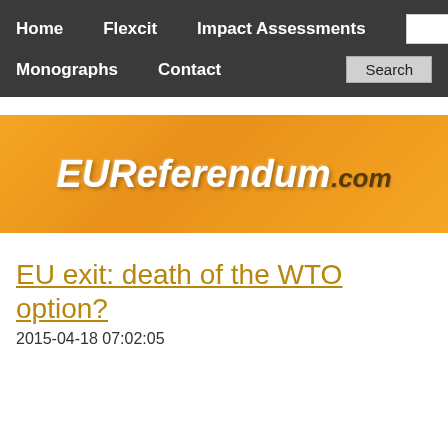Home  Flexcit  Impact Assessments  Monographs  Contact  Search
[Figure (logo): EUReferendum.com logo on orange gradient background]
EU exit: death of the WTO option?
2015-04-18 07:02:05